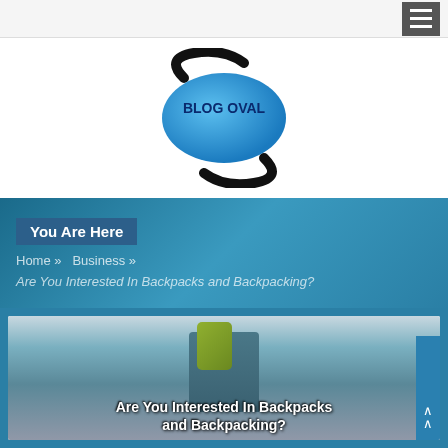[Figure (logo): Blog Oval logo: blue oval shape with black curved arrow outlines, text 'BLOG OVAL' in dark blue inside the oval]
You Are Here
Home » Business »
Are You Interested In Backpacks and Backpacking?
[Figure (photo): Person wearing a blue jacket with a yellow-green backpack in a snowy outdoor setting, with overlay text 'Are You Interested In Backpacks and Backpacking?']